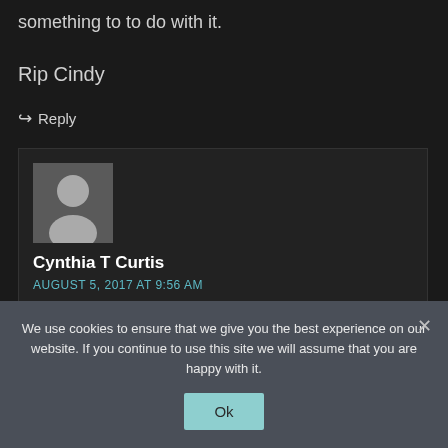something to to do with it.
Rip Cindy
↩ Reply
Cynthia T Curtis
AUGUST 5, 2017 AT 9:56 AM
Juli, I too am a nurse. I have had very similar things happen. My daughter was lured to
We use cookies to ensure that we give you the best experience on our website. If you continue to use this site we will assume that you are happy with it.